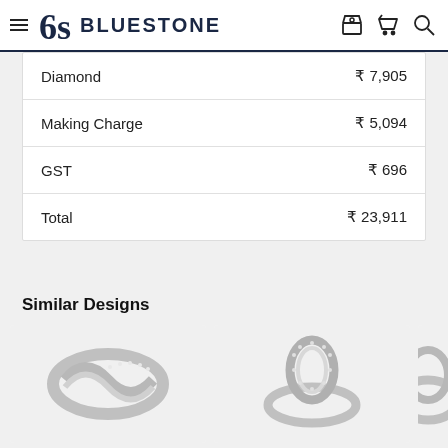BLUESTONE
| Item | Price |
| --- | --- |
| Diamond | ₹ 7,905 |
| Making Charge | ₹ 5,094 |
| GST | ₹ 696 |
| Total | ₹ 23,911 |
Similar Designs
[Figure (photo): Silver diamond ring with wave design and small diamonds along the band]
[Figure (photo): Silver diamond ring with oval-shaped diamond-studded centerpiece]
[Figure (photo): Partially visible silver ring]